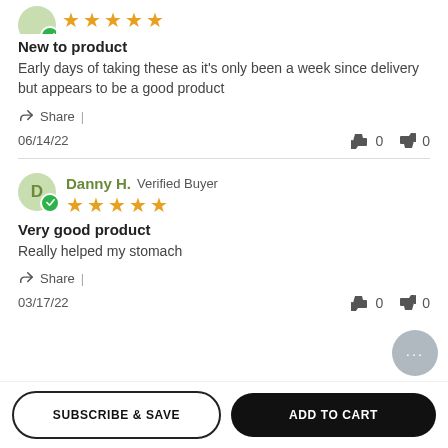[Figure (other): 5-star rating row with partially visible green avatar and verified badge at top]
New to product
Early days of taking these as it’s only been a week since delivery but appears to be a good product
Share |
06/14/22   👍 0   👎 0
[Figure (other): Reviewer avatar circle with D, verified badge, and 5-star rating. Danny H. Verified Buyer]
Very good product
Really helped my stomach
Share |
03/17/22   👍 0   👎 0
SUBSCRIBE & SAVE
ADD TO CART